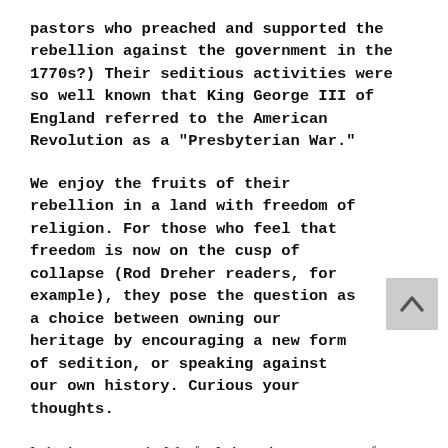pastors who preached and supported the rebellion against the government in the 1770s?) Their seditious activities were so well known that King George III of England referred to the American Revolution as a "Presbyterian War."
We enjoy the fruits of their rebellion in a land with freedom of religion. For those who feel that freedom is now on the cusp of collapse (Rod Dreher readers, for example), they pose the question as a choice between owning our heritage by encouraging a new form of sedition, or speaking against our own history. Curious your thoughts.
Indeed, many see the War for Independence as an act of rebellion encouraged by many clergy. A fascinating read on this is Political